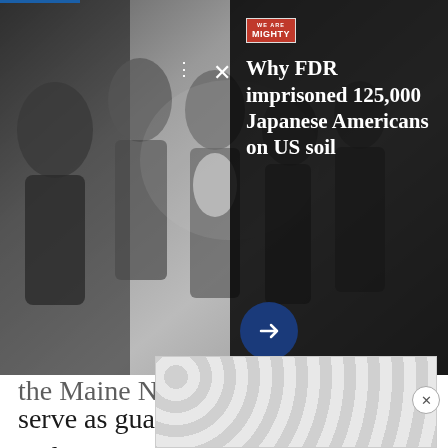[Figure (screenshot): A black and white photograph of Japanese American children, likely from WWII era internment period, overlaid with a promotional ad card from 'We Are The Mighty' with text 'Why FDR imprisoned 125,000 Japanese Americans on US soil' and navigation icons including close X, three dots, and a blue arrow button.]
the Maine National Guard arrived to serve as guards. Originally trained and meant to serve in Afghanistan, the soldiers were deeply unprepared for the scrutiny they would receive and the attacks they would soon endure. The group of citizen-soldiers were forced to rely on each other in order to survive one of the darkest prisons in